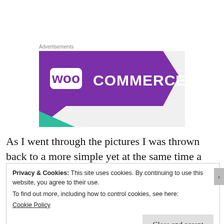Advertisements
[Figure (logo): WooCommerce advertisement banner with purple angular shape on grey background, featuring the WooCommerce logo in white text]
As I went through the pictures I was thrown back to a more simple yet at the same time a more complicated time.  Think about the manual man hours and by the
Privacy & Cookies: This site uses cookies. By continuing to use this website, you agree to their use.
To find out more, including how to control cookies, see here:
Cookie Policy
Close and accept